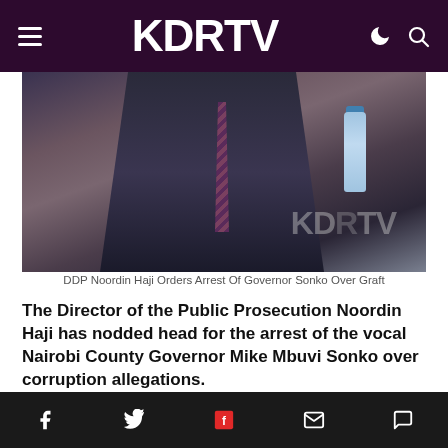KDRTV
[Figure (photo): Man in suit sitting at a table with a water bottle, KDRTV watermark visible]
DDP Noordin Haji Orders Arrest Of Governor Sonko Over Graft
The Director of the Public Prosecution Noordin Haji has nodded head for the arrest of the vocal Nairobi County Governor Mike Mbuvi Sonko over corruption allegations.
The tough-talking DPP ordered the arrest of the embattled Governor on Friday, December 6, in a presser in Nairobi.
Facebook Twitter Flipboard Email Comment